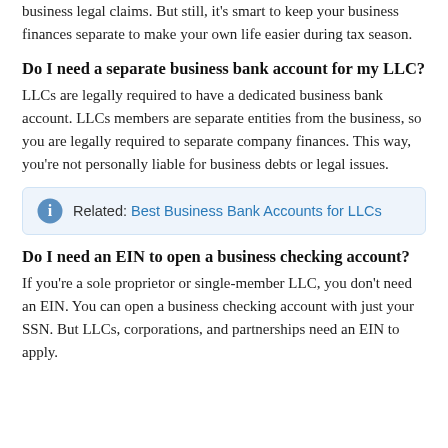business legal claims. But still, it's smart to keep your business finances separate to make your own life easier during tax season.
Do I need a separate business bank account for my LLC?
LLCs are legally required to have a dedicated business bank account. LLCs members are separate entities from the business, so you are legally required to separate company finances. This way, you're not personally liable for business debts or legal issues.
Related: Best Business Bank Accounts for LLCs
Do I need an EIN to open a business checking account?
If you're a sole proprietor or single-member LLC, you don't need an EIN. You can open a business checking account with just your SSN. But LLCs, corporations, and partnerships need an EIN to apply.